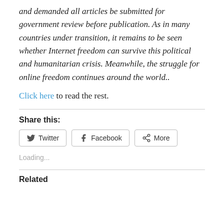and demanded all articles be submitted for government review before publication. As in many countries under transition, it remains to be seen whether Internet freedom can survive this political and humanitarian crisis. Meanwhile, the struggle for online freedom continues around the world..
Click here to read the rest.
Share this:
Loading...
Related